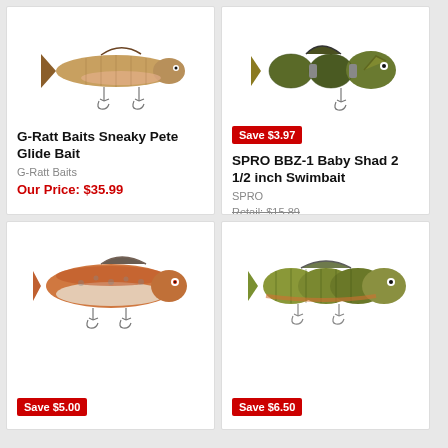[Figure (photo): G-Ratt Baits Sneaky Pete Glide Bait fishing lure - realistic fish-shaped lure with two treble hooks, brown/pink coloring]
G-Ratt Baits Sneaky Pete Glide Bait
G-Ratt Baits
Our Price: $35.99
[Figure (photo): SPRO BBZ-1 Baby Shad 2 1/2 inch Swimbait fishing lure - segmented fish lure with dark green/black coloring and treble hook]
Save $3.97
SPRO BBZ-1 Baby Shad 2 1/2 inch Swimbait
SPRO
Retail: $15.89
Our Price: $11.92
3 reviews
[Figure (photo): Fishing lure - realistic fish-shaped swimbait with red/orange and silver coloring, multiple treble hooks]
Save $5.00
[Figure (photo): Fishing lure - multi-jointed swimbait with olive/yellow perch coloring]
Save $6.50